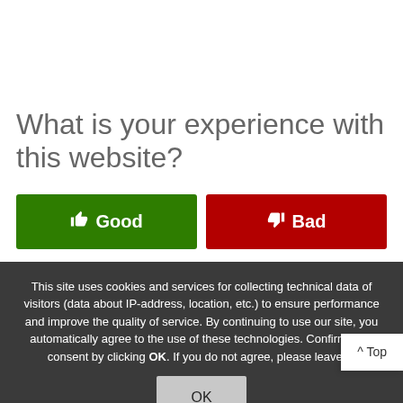What is your experience with this website?
Good
Bad
This site uses cookies and services for collecting technical data of visitors (data about IP-address, location, etc.) to ensure performance and improve the quality of service. By continuing to use our site, you automatically agree to the use of these technologies. Confirm your consent by clicking OK. If you do not agree, please leave th...
OK